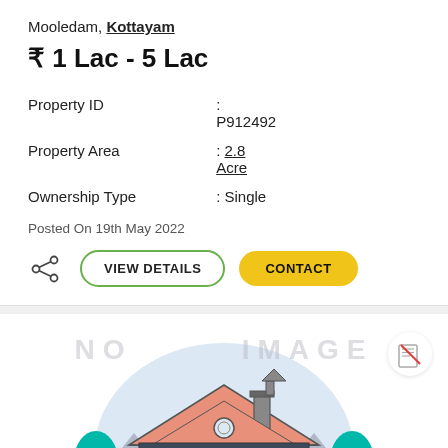Mooledam, Kottayam
₹ 1 Lac - 5 Lac
| Property ID | : | P912492 |
| Property Area | : | 2.8 Acre |
| Ownership Type | : | Single |
Posted On 19th May 2022
[Figure (illustration): House illustration with light blue circular background, orange roof, white walls, trees on sides. Watermark text 'NO IMAGE AVAILABLE'.]